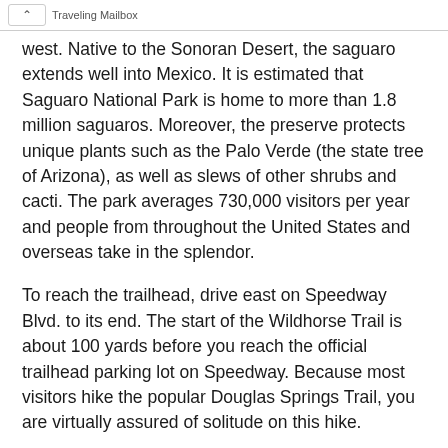Traveling Mailbox
west. Native to the Sonoran Desert, the saguaro extends well into Mexico. It is estimated that Saguaro National Park is home to more than 1.8 million saguaros. Moreover, the preserve protects unique plants such as the Palo Verde (the state tree of Arizona), as well as slews of other shrubs and cacti. The park averages 730,000 visitors per year and people from throughout the United States and overseas take in the splendor.
To reach the trailhead, drive east on Speedway Blvd. to its end. The start of the Wildhorse Trail is about 100 yards before you reach the official trailhead parking lot on Speedway. Because most visitors hike the popular Douglas Springs Trail, you are virtually assured of solitude on this hike.